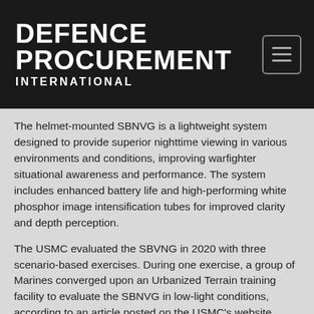DEFENCE PROCUREMENT INTERNATIONAL
The helmet-mounted SBNVG is a lightweight system designed to provide superior nighttime viewing in various environments and conditions, improving warfighter situational awareness and performance. The system includes enhanced battery life and high-performing white phosphor image intensification tubes for improved clarity and depth perception.
The USMC evaluated the SBVNG in 2020 with three scenario-based exercises. During one exercise, a group of Marines converged upon an Urbanized Terrain training facility to evaluate the SBNVG in low-light conditions, according to an article posted on the USMC's website.
The environment mirrored the sights